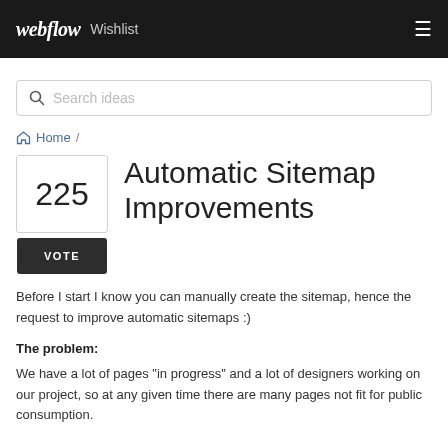webflow Wishlist
[Figure (screenshot): Search bar with magnifying glass icon and placeholder text 'Search ideas']
Home /
Automatic Sitemap Improvements
225 VOTE
Before I start I know you can manually create the sitemap, hence the request to improve automatic sitemaps :)
The problem:
We have a lot of pages "in progress" and a lot of designers working on our project, so at any given time there are many pages not fit for public consumption.